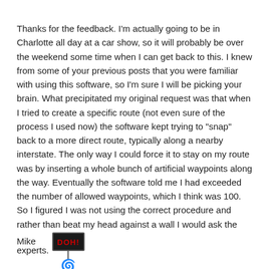Thanks for the feedback. I'm actually going to be in Charlotte all day at a car show, so it will probably be over the weekend some time when I can get back to this. I knew from some of your previous posts that you were familiar with using this software, so I'm sure I will be picking your brain. What precipitated my original request was that when I tried to create a specific route (not even sure of the process I used now) the software kept trying to "snap" back to a more direct route, typically along a nearby interstate. The only way I could force it to stay on my route was by inserting a whole bunch of artificial waypoints along the way. Eventually the software told me I had exceeded the number of allowed waypoints, which I think was 100. So I figured I was not using the correct procedure and rather than beat my head against a wall I would ask the experts. [DOH! emoji]
Mike